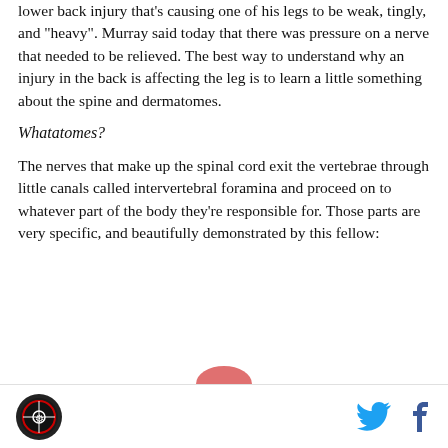lower back injury that's causing one of his legs to be weak, tingly, and "heavy". Murray said today that there was pressure on a nerve that needed to be relieved. The best way to understand why an injury in the back is affecting the leg is to learn a little something about the spine and dermatomes.
Whatatomes?
The nerves that make up the spinal cord exit the vertebrae through little canals called intervertebral foramina and proceed on to whatever part of the body they're responsible for. Those parts are very specific, and beautifully demonstrated by this fellow:
[Figure (illustration): Partial view of a medical illustration showing dermatomes, cropped at the bottom of the page]
Logo icon | Twitter icon | Facebook icon